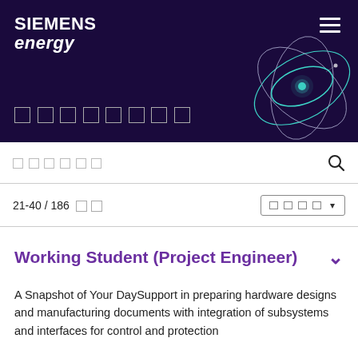[Figure (logo): Siemens Energy logo in white text on dark purple banner background with an atomic orbit SVG decoration on the right and hamburger menu icon in top right]
□□□□□□□
□□□□□□
21-40 / 186 □□  □□□□
Working Student (Project Engineer)
A Snapshot of Your DaySupport in preparing hardware designs and manufacturing documents with integration of subsystems and interfaces for control and protection